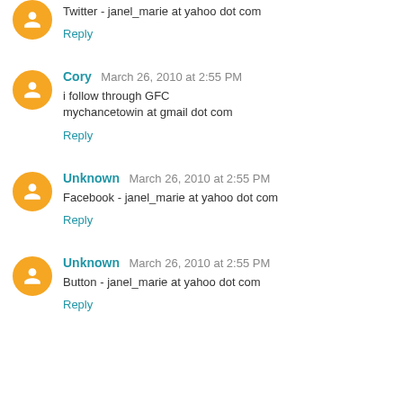Twitter - janel_marie at yahoo dot com
Reply
Cory  March 26, 2010 at 2:55 PM
i follow through GFC
mychancetowin at gmail dot com
Reply
Unknown  March 26, 2010 at 2:55 PM
Facebook - janel_marie at yahoo dot com
Reply
Unknown  March 26, 2010 at 2:55 PM
Button - janel_marie at yahoo dot com
Reply